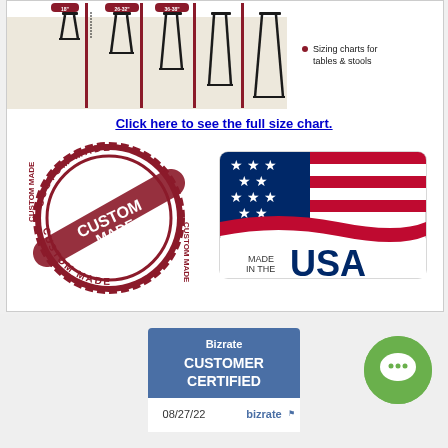[Figure (illustration): Sizing chart diagram showing stools at various heights (18", 26-32", 36-38") with red height indicator lines, and a bullet point 'Sizing charts for tables & stools']
Click here to see the full size chart.
[Figure (logo): Custom Made stamp logo - circular red stamp with 'CUSTOM MADE' text and diagonal banner]
[Figure (logo): Made in the USA badge with American flag and text 'MADE IN THE USA']
[Figure (logo): Bizrate Customer Certified badge dated 08/27/22]
[Figure (other): Green circle chat button icon]